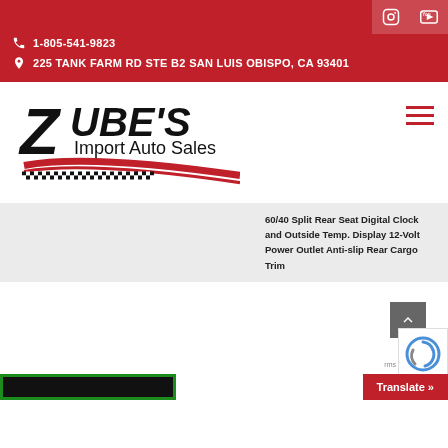1-805-541-9823 | 225 TANK FARM RD STE B2 SAN LUIS OBISPO, CA 93401
[Figure (logo): Zube's Import Auto Sales logo with checkered flag design]
60/40 Split Rear Seat Digital Clock and Outside Temp. Display 12-Volt Power Outlet Anti-slip Rear Cargo Trim
Translate »